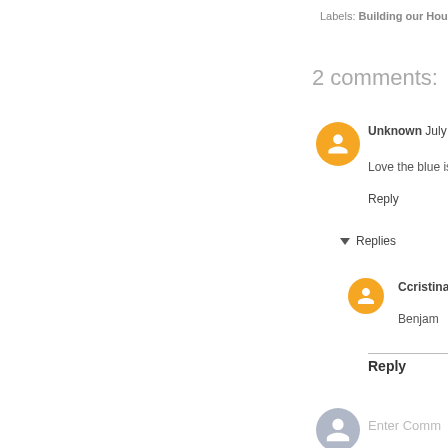Labels: Building our House
2 comments:
Unknown July 30
Love the blue isla
Reply
▼ Replies
Ccristina
Benjam
Reply
Enter Comm